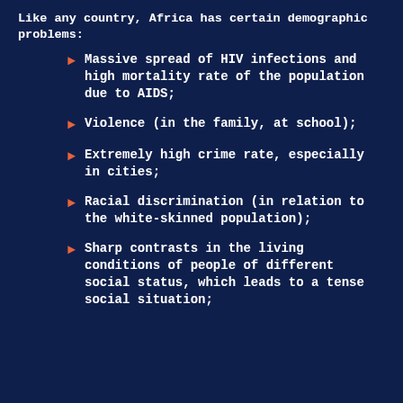Like any country, Africa has certain demographic problems:
Massive spread of HIV infections and high mortality rate of the population due to AIDS;
Violence (in the family, at school);
Extremely high crime rate, especially in cities;
Racial discrimination (in relation to the white-skinned population);
Sharp contrasts in the living conditions of people of different social status, which leads to a tense social situation;